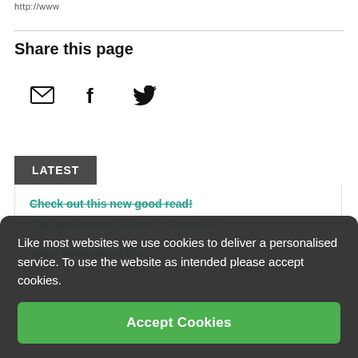http://www
Share this page
[Figure (infographic): Social sharing icons: email envelope, Facebook f, Twitter bird]
LATEST
Check out this new good road!
The Bereavement Journey - Doncaster
Waves Bereavement Group
Like most websites we use cookies to deliver a personalised service. To use the website as intended please accept cookies.
Accept Cookies